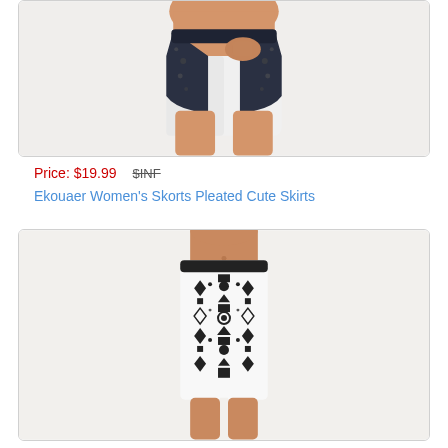[Figure (photo): Bottom portion of a woman wearing a navy/dark patterned skort with white shorts underneath, cropped at torso/thigh area]
Price: $19.99   $INF
Ekouaer Women's Skorts Pleated Cute Skirts
[Figure (photo): Woman wearing a black and white geometric/aztec patterned skirt, cropped view showing torso to knees]